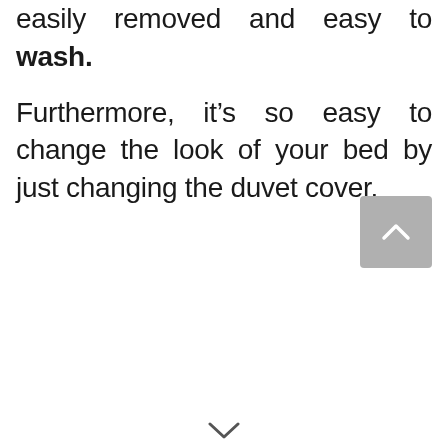easily removed and easy to wash.
Furthermore, it’s so easy to change the look of your bed by just changing the duvet cover.
[Figure (other): Grey rounded square button with upward-pointing chevron arrow (scroll-to-top button)]
[Figure (other): Small downward-pointing arrow at bottom center of page]